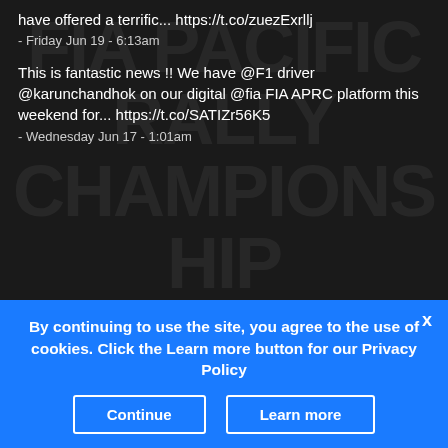have offered a terrific... https://t.co/zuezExrllj
- Friday Jun 19 - 6:13am
This is fantastic news !! We have @F1 driver @karunchandhok on our digital @fia FIA APRC platform this weekend for... https://t.co/SATIZr56K5
- Wednesday Jun 17 - 1:01am
Web site by ingeni.net
[Figure (logo): FIA logo globe, Twitter bird icon, Facebook f icon]
By continuing to use the site, you agree to the use of cookies. Click the Learn more button for our Privacy Policy